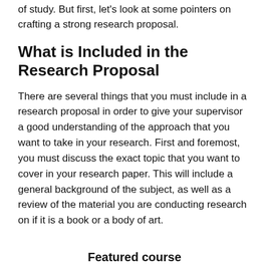of study. But first, let's look at some pointers on crafting a strong research proposal.
What is Included in the Research Proposal
There are several things that you must include in a research proposal in order to give your supervisor a good understanding of the approach that you want to take in your research. First and foremost, you must discuss the exact topic that you want to cover in your research paper. This will include a general background of the subject, as well as a review of the material you are conducting research on if it is a book or a body of art.
Featured course